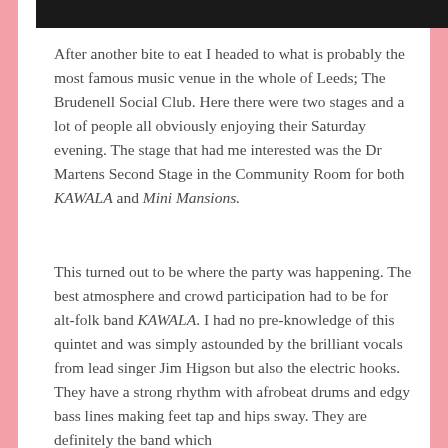[Figure (photo): Dark/black image strip at the top of the page, appears to be a partial photo of people or a venue]
After another bite to eat I headed to what is probably the most famous music venue in the whole of Leeds; The Brudenell Social Club. Here there were two stages and a lot of people all obviously enjoying their Saturday evening. The stage that had me interested was the Dr Martens Second Stage in the Community Room for both KAWALA and Mini Mansions.
This turned out to be where the party was happening. The best atmosphere and crowd participation had to be for alt-folk band KAWALA. I had no pre-knowledge of this quintet and was simply astounded by the brilliant vocals from lead singer Jim Higson but also the electric hooks. They have a strong rhythm with afrobeat drums and edgy bass lines making feet tap and hips sway. They are definitely the band which...